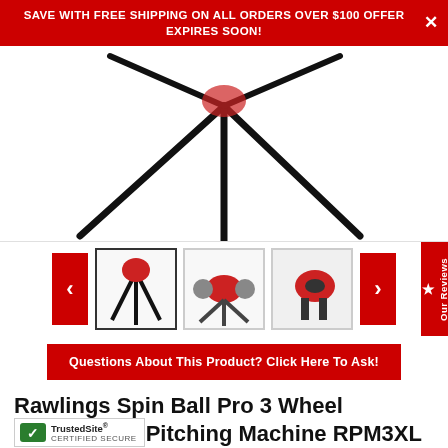SAVE WITH FREE SHIPPING ON ALL ORDERS OVER $100 OFFER EXPIRES SOON!
[Figure (photo): Main product image of Rawlings Spin Ball Pro 3 Wheel Baseball pitching machine showing mostly the base/tripod legs against white background]
[Figure (photo): Three thumbnail images of the pitching machine from different angles]
Questions About This Product? Click Here To Ask!
Rawlings Spin Ball Pro 3 Wheel Baseball-XL Pitching Machine RPM3XL